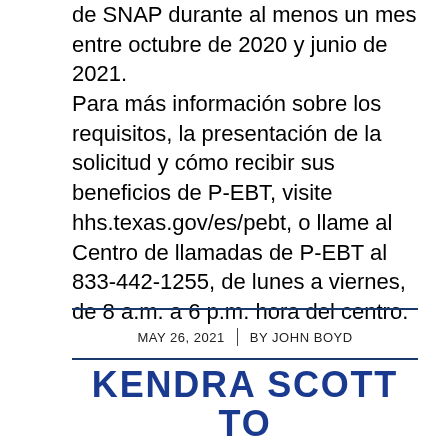de SNAP durante al menos un mes entre octubre de 2020 y junio de 2021. Para más información sobre los requisitos, la presentación de la solicitud y cómo recibir sus beneficios de P-EBT, visite hhs.texas.gov/es/pebt, o llame al Centro de llamadas de P-EBT al 833-442-1255, de lunes a viernes, de 8 a.m. a 6 p.m. hora del centro.
MAY 26, 2021 | BY JOHN BOYD
KENDRA SCOTT TO